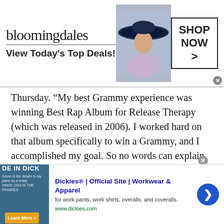[Figure (screenshot): Bloomingdales advertisement banner: logo text 'bloomingdales', tagline 'View Today's Top Deals!', image of woman in hat, 'SHOP NOW >' button box]
Thursday. “My best Grammy experience was winning Best Rap Album for Release Therapy (which was released in 2006). I worked hard on that album specifically to win a Grammy, and I accomplished my goal. So no words can explain how great that felt. But we’re coming right back at ‘em soon.”
His pick for Sunday night is clear: He wants to see Nicki Minaj to win Best New Artist. He worked with the MC on 2010’s “My Chick Bad,” off his Battle of the Sexes album.
[Figure (screenshot): Dickies advertisement: logo image 'DE IN DICK', title 'Dickies® | Official Site | Workwear & Apparel', description 'for work pants, work shirts, overalls, and coveralls.', URL 'www.dickies.com', blue arrow button]